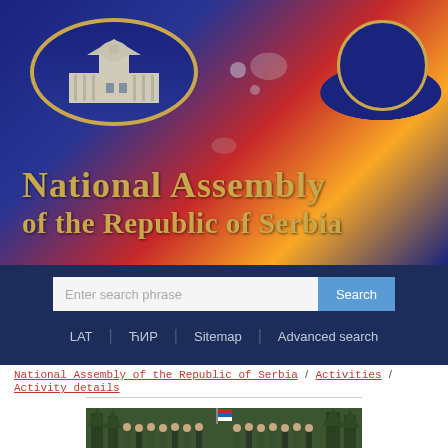[Figure (logo): National Assembly of the Republic of Serbia header banner with logo, blue oval with building illustration, decorative colored background, and blue circle top right]
National Assembly of the Republic of Serbia
Enter search phrase | Search
LAT | ЋИР | Sitemap | Advanced search
National Assembly of the Republic of Serbia / Activities / Activity details
[Figure (photo): Group photo of people standing outdoors among tall pine trees with a Serbian flag visible]